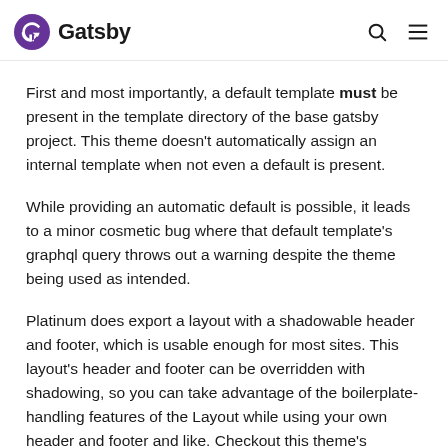Gatsby
First and most importantly, a default template must be present in the template directory of the base gatsby project. This theme doesn't automatically assign an internal template when not even a default is present.
While providing an automatic default is possible, it leads to a minor cosmetic bug where that default template's graphql query throws out a warning despite the theme being used as intended.
Platinum does export a layout with a shadowable header and footer, which is usable enough for most sites. This layout's header and footer can be overridden with shadowing, so you can take advantage of the boilerplate-handling features of the Layout while using your own header and footer and like. Checkout this theme's